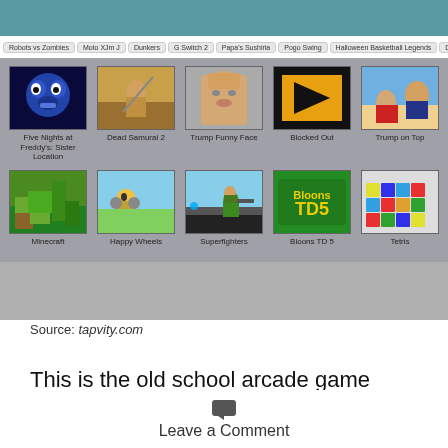[Figure (screenshot): Screenshot of a gaming website (tapvity.com) showing nav tabs (Robots vs Zombies, Moto XJm J, Dunkers, G Switch 2, Papa's Sushiria, Pogo Swing, Halloween Basketball Legends, and more) and two rows of game thumbnails: Row 1: Five Nights at Freddy's Sister Location, Dead Samurai 2, Trump Funny Face, Blocked Out, Trump on Top. Row 2: Minecraft, Happy Wheels, Superfighters, Bloons TD 5, Tetris.]
Source: tapvity.com
This is the old school arcade game donkey kong and it is the full version with all 4 levels just like the original from back in the days of yore. We are here
Leave a Comment